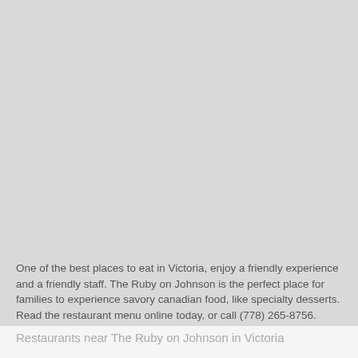[Figure (photo): Large grey placeholder image area occupying the top portion of the page]
One of the best places to eat in Victoria, enjoy a friendly experience and a friendly staff. The Ruby on Johnson is the perfect place for families to experience savory canadian food, like specialty desserts. Read the restaurant menu online today, or call (778) 265-8756.
Restaurants near The Ruby on Johnson in Victoria